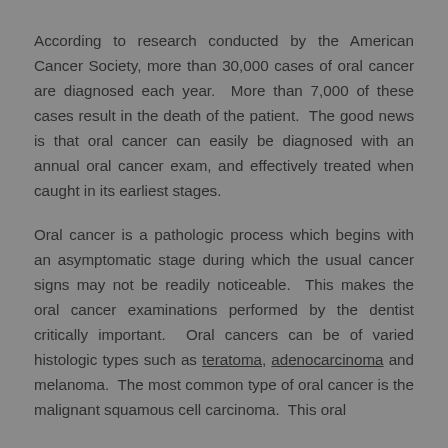According to research conducted by the American Cancer Society, more than 30,000 cases of oral cancer are diagnosed each year. More than 7,000 of these cases result in the death of the patient. The good news is that oral cancer can easily be diagnosed with an annual oral cancer exam, and effectively treated when caught in its earliest stages.
Oral cancer is a pathologic process which begins with an asymptomatic stage during which the usual cancer signs may not be readily noticeable. This makes the oral cancer examinations performed by the dentist critically important. Oral cancers can be of varied histologic types such as teratoma, adenocarcinoma and melanoma. The most common type of oral cancer is the malignant squamous cell carcinoma. This oral